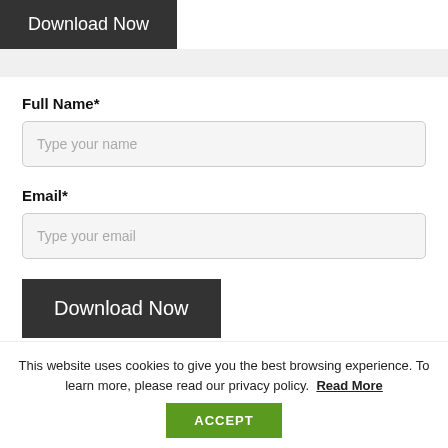Download Now
Full Name*
Type your name
Email*
Type your email
Download Now
This website uses cookies to give you the best browsing experience. To learn more, please read our privacy policy. Read More
ACCEPT